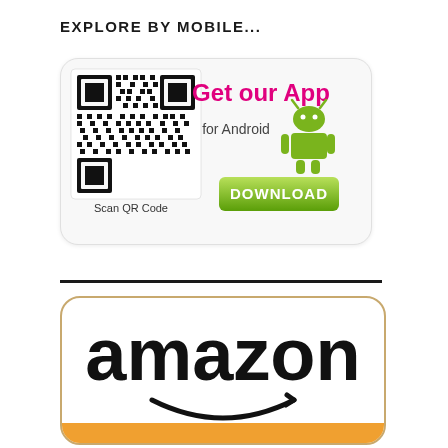EXPLORE BY MOBILE...
[Figure (infographic): Android app QR code card with 'Get our App for Android' text, Android robot logo, QR code to scan, and a green DOWNLOAD button]
[Figure (logo): Amazon logo on a rounded rectangle card with orange/tan border and orange bottom bar]